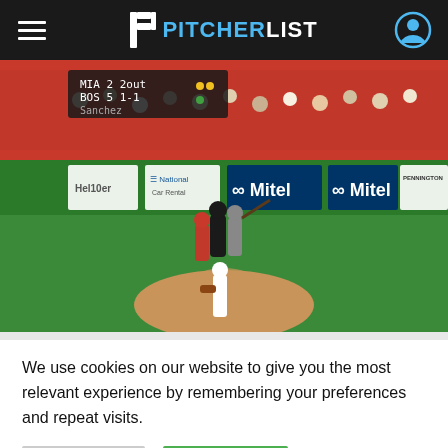PITCHERLIST
[Figure (photo): Baseball game screenshot showing a pitcher on the mound at Fenway Park with scoreboard showing MIA 2, BOS 5, and Mitel/National/CarMax advertisements on the outfield wall]
We use cookies on our website to give you the most relevant experience by remembering your preferences and repeat visits.
Reject All | Accept All